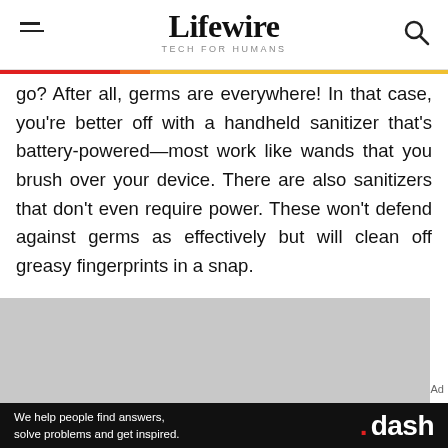Lifewire TECH FOR HUMANS
go? After all, germs are everywhere! In that case, you're better off with a handheld sanitizer that's battery-powered—most work like wands that you brush over your device. There are also sanitizers that don't even require power. These won't defend against germs as effectively but will clean off greasy fingerprints in a snap.
[Figure (other): Gray advertisement placeholder box with 'Ad' label]
[Figure (other): Dash advertisement banner on black background reading 'We help people find answers, solve problems and get inspired. .dash']